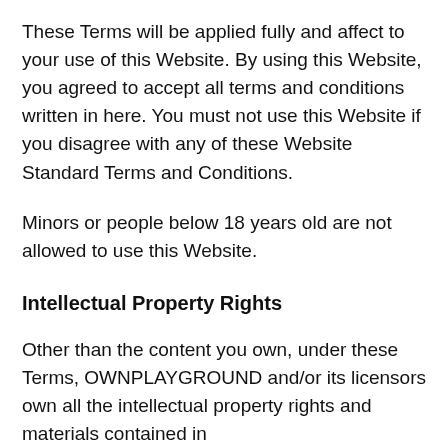These Terms will be applied fully and affect to your use of this Website. By using this Website, you agreed to accept all terms and conditions written in here. You must not use this Website if you disagree with any of these Website Standard Terms and Conditions.
Minors or people below 18 years old are not allowed to use this Website.
Intellectual Property Rights
Other than the content you own, under these Terms, OWNPLAYGROUND and/or its licensors own all the intellectual property rights and materials contained in